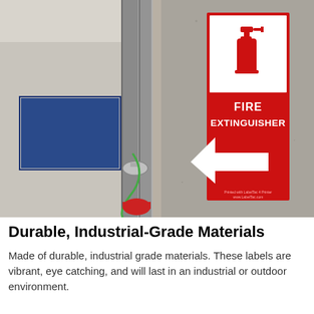[Figure (photo): Photograph of a fire extinguisher sign mounted on a concrete wall. The sign is red with a white background panel at top showing a fire extinguisher icon, bold white text reading 'FIRE EXTINGUISHER', and a white left-pointing arrow below. Industrial pipes and equipment are visible in the background.]
Durable, Industrial-Grade Materials
Made of durable, industrial grade materials. These labels are vibrant, eye catching, and will last in an industrial or outdoor environment.